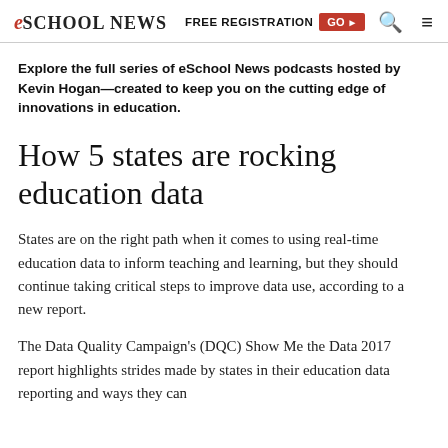eSchool News | FREE REGISTRATION GO ▶ 🔍 ≡
Explore the full series of eSchool News podcasts hosted by Kevin Hogan—created to keep you on the cutting edge of innovations in education.
How 5 states are rocking education data
States are on the right path when it comes to using real-time education data to inform teaching and learning, but they should continue taking critical steps to improve data use, according to a new report.
The Data Quality Campaign's (DQC) Show Me the Data 2017 report highlights strides made by states in their education data reporting and ways they can